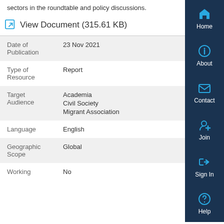sectors in the roundtable and policy discussions.
View Document (315.61 KB)
| Field | Value |
| --- | --- |
| Date of Publication | 23 Nov 2021 |
| Type of Resource | Report |
| Target Audience | Academia
Civil Society
Migrant Association |
| Language | English |
| Geographic Scope | Global |
| Working | No |